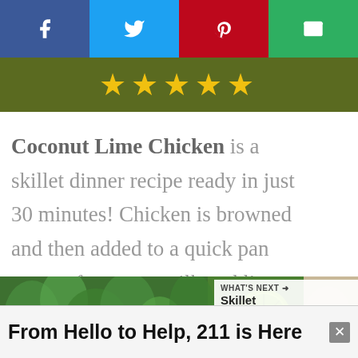[Figure (other): Social share bar with Facebook (blue), Twitter (sky blue), Pinterest (red), and Email (green) buttons with icons]
[Figure (other): Olive green rating bar with 5 yellow star icons]
Coconut Lime Chicken is a skillet dinner recipe ready in just 30 minutes! Chicken is browned and then added to a quick pan sauce of coconut milk and lime juice.
[Figure (photo): Photo of fresh herbs (parsley/cilantro) and a halved lime]
WHAT'S NEXT → Skillet Chicken
From Hello to Help, 211 is Here